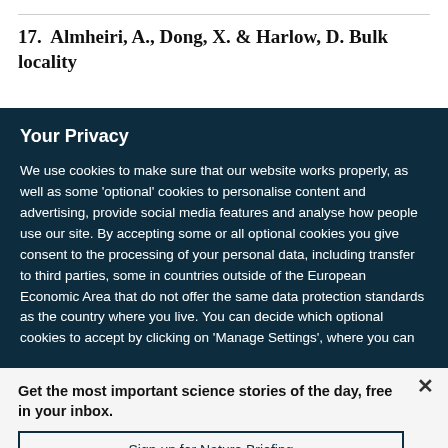17.  Almheiri, A., Dong, X. & Harlow, D. Bulk locality
Your Privacy
We use cookies to make sure that our website works properly, as well as some 'optional' cookies to personalise content and advertising, provide social media features and analyse how people use our site. By accepting some or all optional cookies you give consent to the processing of your personal data, including transfer to third parties, some in countries outside of the European Economic Area that do not offer the same data protection standards as the country where you live. You can decide which optional cookies to accept by clicking on 'Manage Settings', where you can
Get the most important science stories of the day, free in your inbox.
Sign up for Nature Briefing